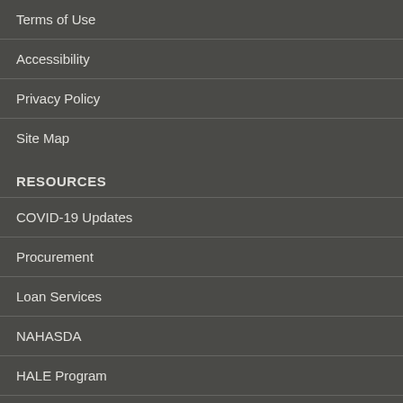Terms of Use
Accessibility
Privacy Policy
Site Map
RESOURCES
COVID-19 Updates
Procurement
Loan Services
NAHASDA
HALE Program
Grants
Government Relations